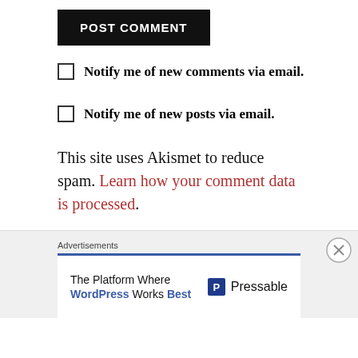POST COMMENT
Notify me of new comments via email.
Notify me of new posts via email.
This site uses Akismet to reduce spam. Learn how your comment data is processed.
Advertisements
The Platform Where WordPress Works Best   Pressable